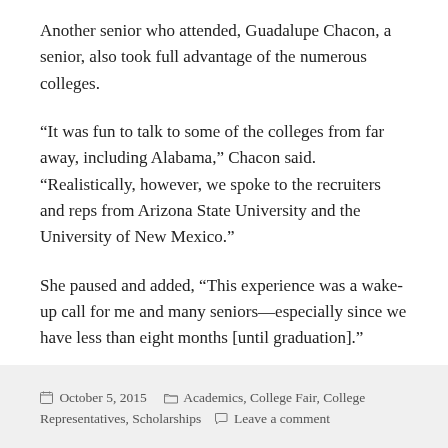Another senior who attended, Guadalupe Chacon, a senior, also took full advantage of the numerous colleges.
“It was fun to talk to some of the colleges from far away, including Alabama,” Chacon said. “Realistically, however, we spoke to the recruiters and reps from Arizona State University and the University of New Mexico.”
She paused and added, “This experience was a wake-up call for me and many seniors—especially since we have less than eight months [until graduation].”
October 5, 2015   Academics, College Fair, College Representatives, Scholarships   Leave a comment